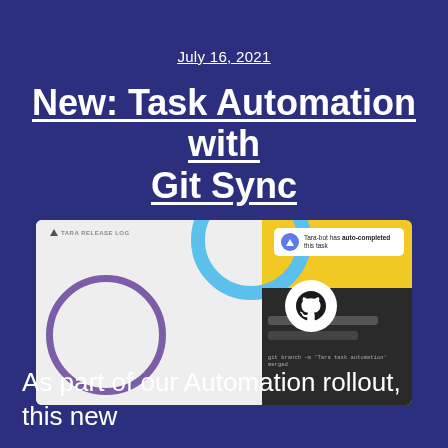July 16, 2021
New: Task Automation with Git Sync
[Figure (screenshot): Screenshot of Tara Release Log interface showing a notification 'Tara-bot has auto-completed this task', a GitHub logo, and a terminal command 'git branch -m \'Tara task automation\' merged'. Decorative circles in blue and purple on the left side.]
As part of our Automation rollout, this new